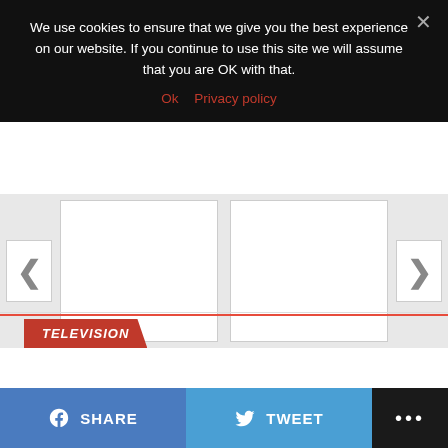We use cookies to ensure that we give you the best experience on our website. If you continue to use this site we will assume that you are OK with that.
Ok   Privacy policy
[Figure (screenshot): Carousel with left and right navigation arrows and two white panel placeholders]
TELEVISION
SHARE
TWEET
···